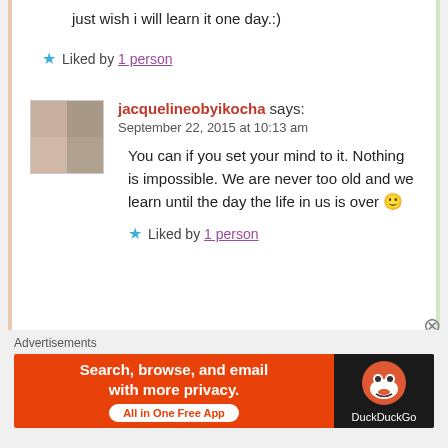just wish i will learn it one day.:)
★ Liked by 1 person
jacquelineobyikocha says:
September 22, 2015 at 10:13 am
You can if you set your mind to it. Nothing is impossible. We are never too old and we learn until the day the life in us is over 🙂
★ Liked by 1 person
Advertisements
[Figure (screenshot): DuckDuckGo advertisement banner: orange background with text 'Search, browse, and email with more privacy.' and 'All in One Free App' button, dark right panel with DuckDuckGo duck logo and text 'DuckDuckGo']